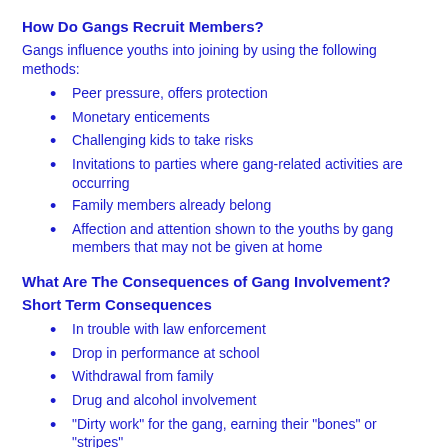How Do Gangs Recruit Members?
Gangs influence youths into joining by using the following methods:
Peer pressure, offers protection
Monetary enticements
Challenging kids to take risks
Invitations to parties where gang-related activities are occurring
Family members already belong
Affection and attention shown to the youths by gang members that may not be given at home
What Are The Consequences of Gang Involvement?
Short Term Consequences
In trouble with law enforcement
Drop in performance at school
Withdrawal from family
Drug and alcohol involvement
“Dirty work” for the gang, earning their “bones” or “stripes”
Long Term Consequences